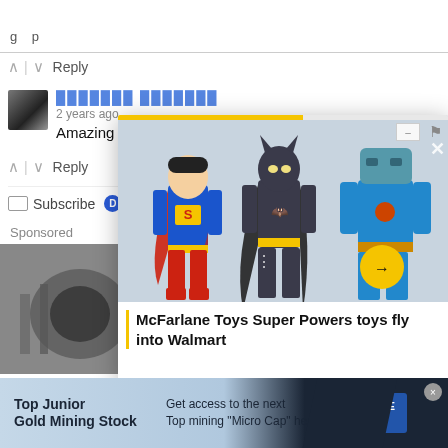[Figure (screenshot): Website comment section screenshot with popup overlay showing McFarlane Toys Super Powers toys article preview, sponsored section with machinery image, and bottom advertisement banner for Top Junior Gold Mining Stock]
^ | v  Reply
[Figure (photo): User avatar photo (grayscale portrait)]
XXXXXXXX XXXXXXXX
2 years ago
Amazing Golden
^ | v  Reply
Subscribe  D  A
Sponsored
[Figure (photo): Sponsored content image showing machinery/tools, partially visible]
[Figure (photo): Popup overlay showing McFarlane Toys Super Powers action figures (Superman, Batman, Darkseid) with yellow progress bar and navigation arrow]
McFarlane Toys Super Powers toys fly into Walmart
Top Junior Gold Mining Stock
Get access to the next Top mining "Micro Cap" here!
EXPLORE NOW